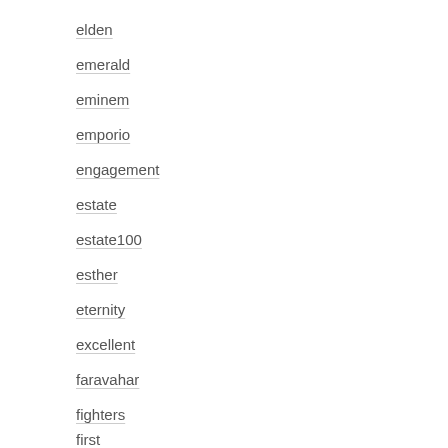elden
emerald
eminem
emporio
engagement
estate
estate100
esther
eternity
excellent
faravahar
fighters
first